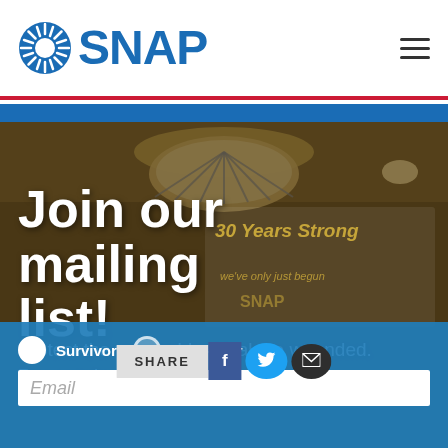SNAP
Join our mailing list!
Protect the vulnerable. Heal the wounded. Prevent the abuse.
[Figure (screenshot): SNAP organization website screenshot showing mailing list signup page with hero image of a chandelier and '30 Years Strong' banner in background]
Survivor  Supporter
SHARE
Email